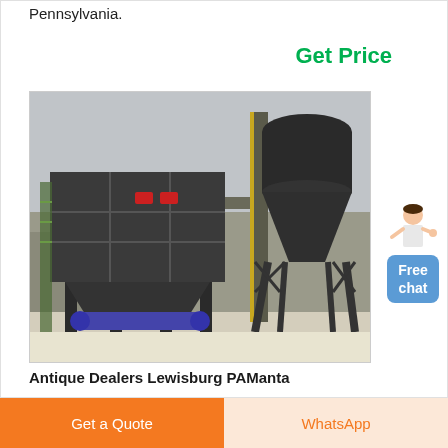Pennsylvania.
Get Price
[Figure (photo): Industrial roller mill / dust collector equipment photographed outdoors. Large dark metal box-shaped collector on the left with red elements, tall cylindrical silo on the right, connected by steel framework and conveyor piping, set against a rocky backdrop.]
Antique Dealers Lewisburg PAManta
Lewisburg Roller Mills Marketplace 517 Saint
Get a Quote
WhatsApp